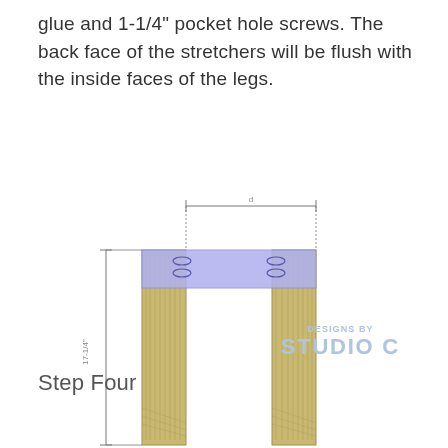glue and 1-1/4" pocket hole screws. The back face of the stretchers will be flush with the inside faces of the legs.
[Figure (engineering-diagram): Front view engineering diagram of a table/bench structure showing two wooden legs connected by a horizontal stretcher (highlighted in light blue/purple). Dimension lines show width across the top and height (17-1/4") on the left side. Pocket hole screws are indicated on the stretcher. Watermark reads DESIGNS BY STUDIO C.]
Step Four